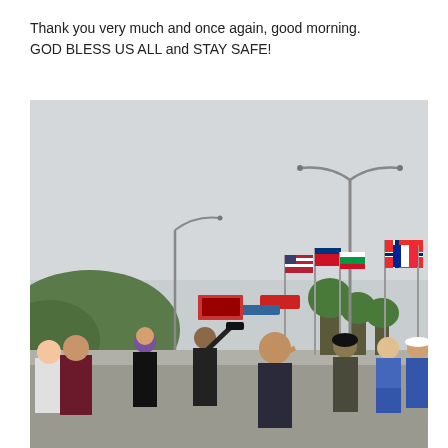Thank you very much and once again, good morning. GOD BLESS US ALL and STAY SAFE!
[Figure (photo): Outdoor street scene in Korea with multiple international flags on poles lining a wide road. Several people stand in the foreground; one older man in a dark jacket appears to be saluting. Trees and hills visible in the background, overcast sky. Street lights and signs along the road.]